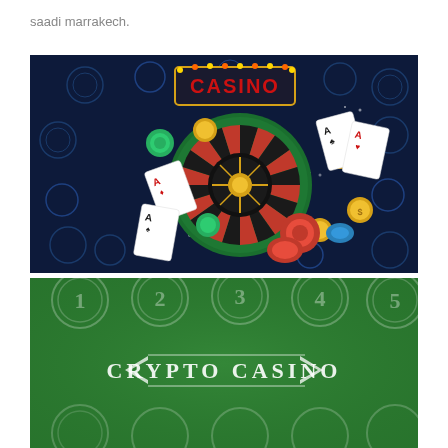saadi marrakech.
[Figure (illustration): Casino illustration with dark navy blue background featuring a roulette wheel in center, playing cards, green and red poker chips, gold coins, and a neon-lit CASINO sign at the top with decorative crypto coin icons around the border.]
[Figure (illustration): Crypto Casino illustration with green felt background showing numbered circles (1, 2, 3, 4, 5) along the top and bottom edges, and a decorative white text logo reading CRYPTO CASINO with ornamental arrow/leaf embellishments on either side, framed by white lines.]